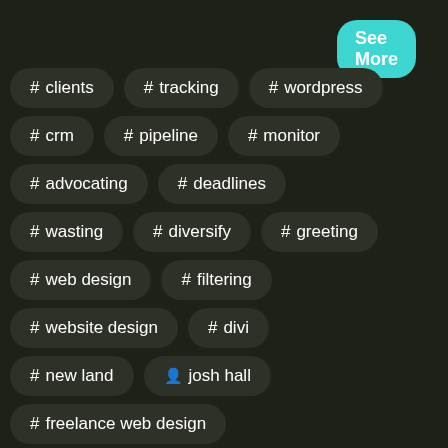See More
# clients
# tracking
# wordpress
# crm
# pipeline
# monitor
# advocating
# deadlines
# wasting
# diversify
# greeting
# web design
# filtering
# website design
# divi
# new land
josh hall
# freelance web design
# josh hall web design show